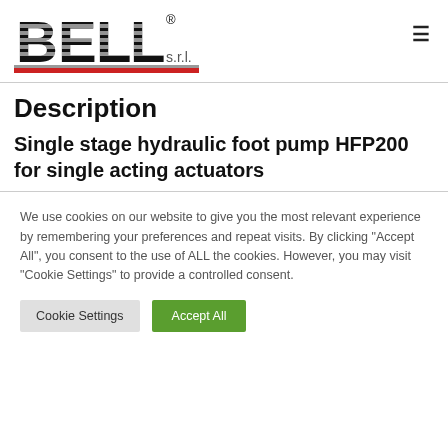[Figure (logo): BELL s.r.l. company logo with striped lettering and red/grey underline bars]
Description
Single stage hydraulic foot pump HFP200 for single acting actuators
We use cookies on our website to give you the most relevant experience by remembering your preferences and repeat visits. By clicking "Accept All", you consent to the use of ALL the cookies. However, you may visit "Cookie Settings" to provide a controlled consent.